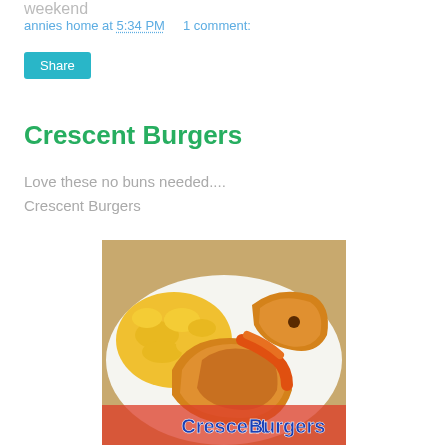weekend
annies home at 5:34 PM   1 comment:
Share
Crescent Burgers
Love these no buns needed....
Crescent Burgers
[Figure (photo): Photo of crescent roll burgers on a plate with scrambled eggs. Text overlay reads 'Crescent Burgers' in blue and red at the bottom.]